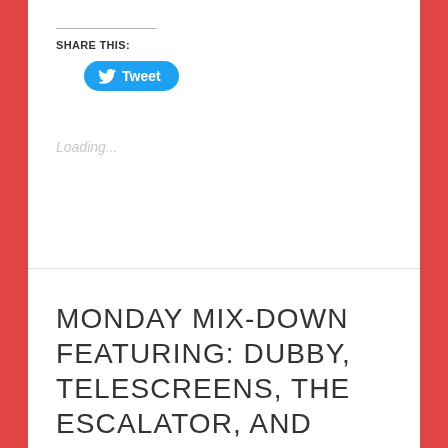SHARE THIS:
[Figure (other): Tweet button with Twitter bird icon]
Loading...
MONDAY MIX-DOWN FEATURING: DUBBY, TELESCREENS, THE ESCALATOR, AND AWOLK
May 13, 2019   Leave a comment